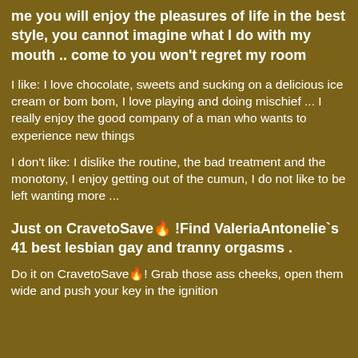me you will enjoy the pleasures of life in the best style, you cannot imagine what I do with my mouth .. come to you won't regret my room
I like: I love chocolate, sweets and sucking on a delicious ice cream or bom bom, I love playing and doing mischief ... I really enjoy the good company of a man who wants to experience new things
I don't like: I dislike the routine, the bad treatment and the monotony, I enjoy getting out of the cumun, I do not like to be left wanting more ...
Just on CravetoSave🔥 !Find ValeriaAntonelie`s 41 best lesbian gay and tranny orgasms .
Do it on CravetoSave🔥! Grab those ass cheeks, open them wide and push your key in the ignition